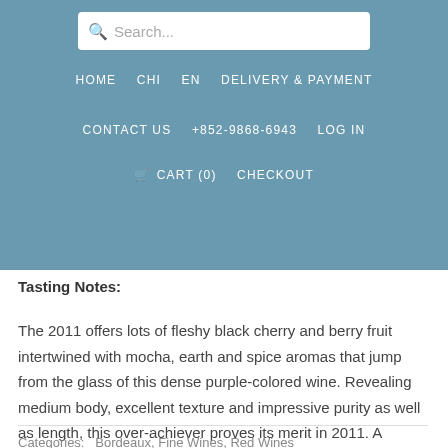HOME  CHI  EN  DELIVERY & PAYMENT  CONTACT US  +852-9868-6943  LOG IN  CART (0)  CHECKOUT
Tasting Notes:
The 2011 offers lots of fleshy black cherry and berry fruit intertwined with mocha, earth and spice aromas that jump from the glass of this dense purple-colored wine. Revealing medium body, excellent texture and impressive purity as well as length, this over-achiever proves its merit in 2011. A sleeper of the vintage, it should be drunk over the next 7-8 years.
Categories:  Bordeaux, Fine Wines, Red Wines